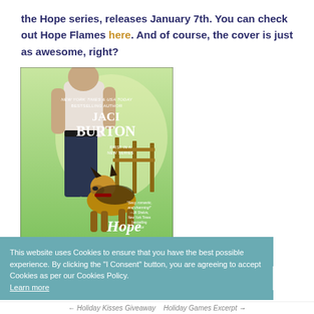the Hope series, releases January 7th. You can check out Hope Flames here. And of course, the cover is just as awesome, right?
[Figure (photo): Book cover of 'Hope Flames' by Jaci Burton. Shows a muscular man in a white tank top and jeans standing with a German Shepherd dog in a green outdoor setting. Text reads: NEW YORK TIMES & USA TODAY BESTSELLING AUTHOR, JACI BURTON, FIRST IN A NEW SERIES. Quote: 'Sexy, romantic, and charming! —Jill Shalvis, New York Times bestselling author']
This website uses Cookies to ensure that you have the best possible experience. By clicking the "I Consent" button, you are agreeing to accept Cookies as per our Cookies Policy. Learn more
← Holiday Kisses Giveaway  Holiday Games Excerpt →